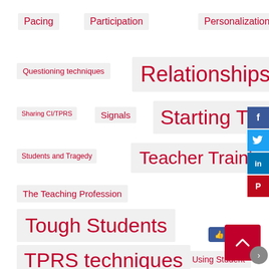Pacing
Participation
Personalization
Questioning techniques
Relationships
Sharing CI/TPRS
Signals
Starting The Year
Students and Tragedy
Teacher Training
The Teaching Profession
Tough Students
TPRS techniques
Using Student